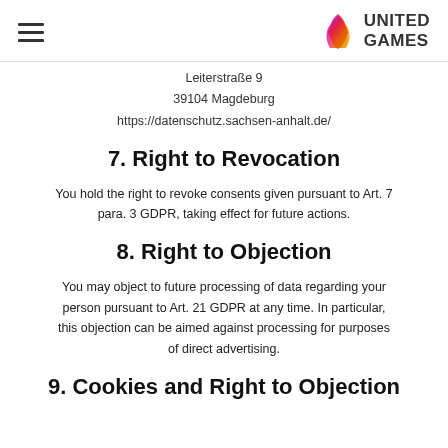United Games
Leiterstraße 9
39104 Magdeburg
https://datenschutz.sachsen-anhalt.de/
7. Right to Revocation
You hold the right to revoke consents given pursuant to Art. 7 para. 3 GDPR, taking effect for future actions.
8. Right to Objection
You may object to future processing of data regarding your person pursuant to Art. 21 GDPR at any time. In particular, this objection can be aimed against processing for purposes of direct advertising.
9. Cookies and Right to Objection